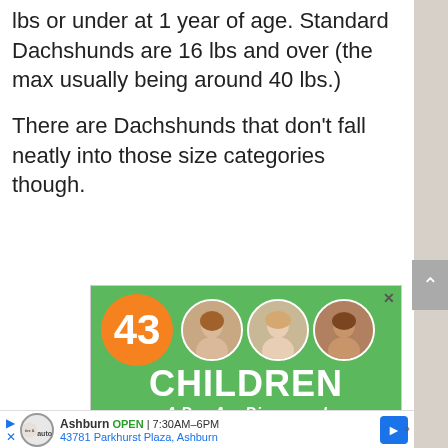lbs or under at 1 year of age. Standard Dachshunds are 16 lbs and over (the max usually being around 40 lbs.)
There are Dachshunds that don't fall neatly into those size categories though.
[Figure (infographic): Advertisement banner showing '43 CHILDREN A Day Are Diagnosed With Cancer in the U.S.' on a green background with an orange circle containing '43', and three circular photos of children.]
Ashburn OPEN 7:30AM–6PM 43781 Parkhurst Plaza, Ashburn